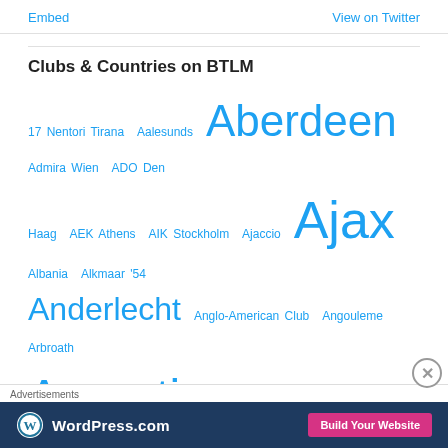Embed   View on Twitter
Clubs & Countries on BTLM
17 Nentori Tirana Aalesunds Aberdeen Admira Wien ADO Den Haag AEK Athens AIK Stockholm Ajaccio Ajax Albania Alkmaar '54 Anderlecht Anglo-American Club Angouleme Arbroath Argentina Argentinos Juniors Arges Pitesti Arminia Bielefeld Arsenal AS23 Aston Villa Atalanta Athletic Bilbao Atletico Madrid Austria...
Advertisements
[Figure (screenshot): WordPress.com advertisement banner with logo and Build Your Website button]